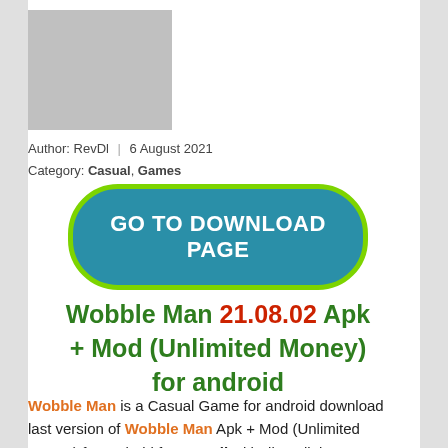[Figure (photo): Gray placeholder image rectangle]
Author: RevDl | 6 August 2021
Category: Casual, Games
[Figure (other): GO TO DOWNLOAD PAGE button — teal rounded rectangle with green border]
Wobble Man 21.08.02 Apk + Mod (Unlimited Money) for android
Wobble Man is a Casual Game for android download last version of Wobble Man Apk + Mod (Unlimited Money) for android from revdl with direct link